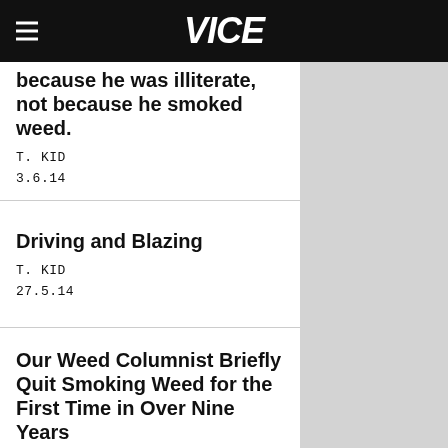VICE
because he was illiterate, not because he smoked weed.
T. KID
3.6.14
Driving and Blazing
T. KID
27.5.14
Our Weed Columnist Briefly Quit Smoking Weed for the First Time in Over Nine Years
T. KID
9.5.14